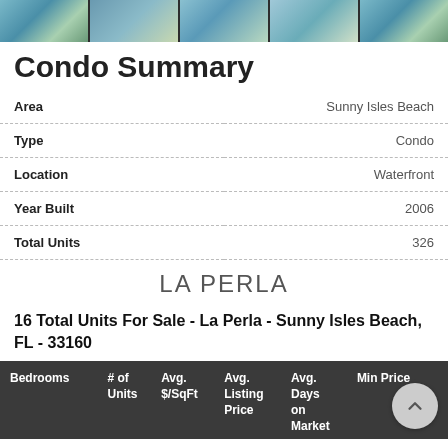[Figure (photo): Strip of condo/waterfront property photos at the top of the page]
Condo Summary
| Field | Value |
| --- | --- |
| Area | Sunny Isles Beach |
| Type | Condo |
| Location | Waterfront |
| Year Built | 2006 |
| Total Units | 326 |
LA PERLA
16 Total Units For Sale - La Perla - Sunny Isles Beach, FL - 33160
| Bedrooms | # of Units | Avg. $/SqFt | Avg. Listing Price | Avg. Days on Market | Min Price |
| --- | --- | --- | --- | --- | --- |